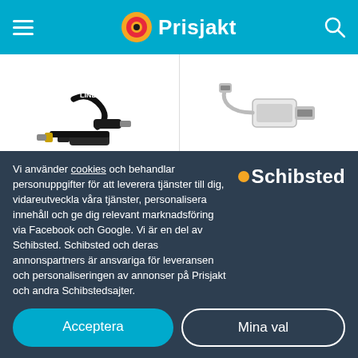Prisjakt
[Figure (photo): Lindy Passive HDMI to DisplayPort Mini cable product photo]
Lindy Passive HDMI - DisplayPort Mini 2m
HDMI, Hane - Hane, Dis...
189 kr
[Figure (photo): StarTech DisplayPort to DisplayPort Mini 3m adapter product photo]
StarTech DisplayPort - DisplayPort Mini 3m
DisplayPort, DisplayPort...
★★★½ (1)
144 kr
Vi använder cookies och behandlar personuppgifter för att leverera tjänster till dig, vidareutveckla våra tjänster, personalisera innehåll och ge dig relevant marknadsföring via Facebook och Google. Vi är en del av Schibsted. Schibsted och deras annonspartners är ansvariga för leveransen och personaliseringen av annonser på Prisjakt och andra Schibstedsajter.
Acceptera
Mina val